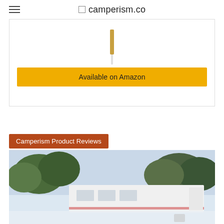camperism.co
[Figure (photo): Product card with an item partially visible and an 'Available on Amazon' yellow button]
Available on Amazon
Camperism Product Reviews
[Figure (photo): Outdoor photo showing a white camper/RV with trees and sky in background]